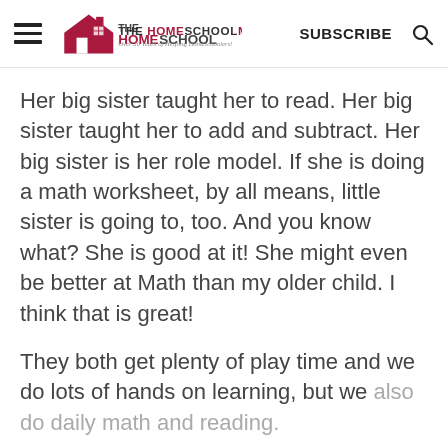THE HOMESCHOOL MOM — Over 20 Years of Helping Homeschoolers! | SUBSCRIBE | [Search]
Her big sister taught her to read. Her big sister taught her to add and subtract. Her big sister is her role model. If she is doing a math worksheet, by all means, little sister is going to, too. And you know what? She is good at it! She might even be better at Math than my older child. I think that is great!
They both get plenty of play time and we do lots of hands on learning, but we also do daily math and reading.